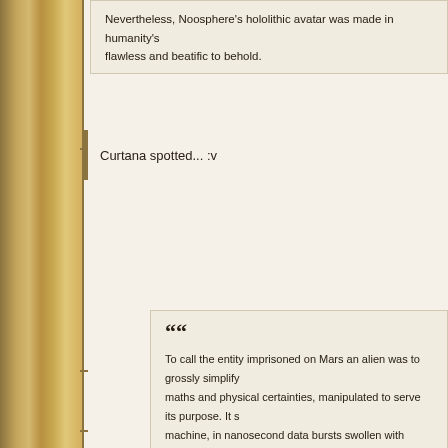Nevertheless, Noosphere's hololithic avatar was made in humanity's image, flawless and beatific to behold.
Curtana spotted... :v
““ To call the entity imprisoned on Mars an alien was to grossly simplify maths and physical certainties, manipulated to serve its purpose. It s machine, in nanosecond data bursts swollen with knowledge. It was rage Noosphere's cold mind could scarce fathom. It was clever too, mind mad to know.
Yes, it is all in order to sell miniature plastic toys, for some pink ball of clients... said clients being neckbearded men and female mutants kno Tzeentch and the Ultramarines. BTW, the Inquisition already knows th
If I was teleported in Warhammer's Galaxy, my first priority would be to troubles against telepaths. :v